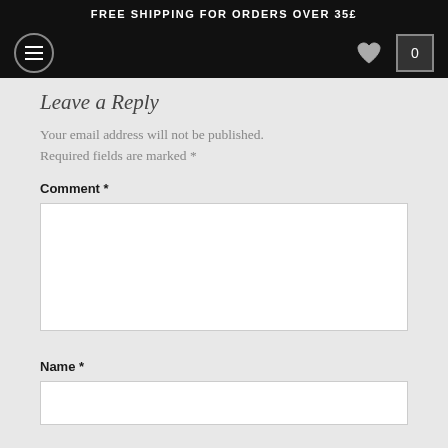FREE SHIPPING FOR ORDERS OVER 35£
Leave a Reply
Your email address will not be published. Required fields are marked *
Comment *
Name *
Email *